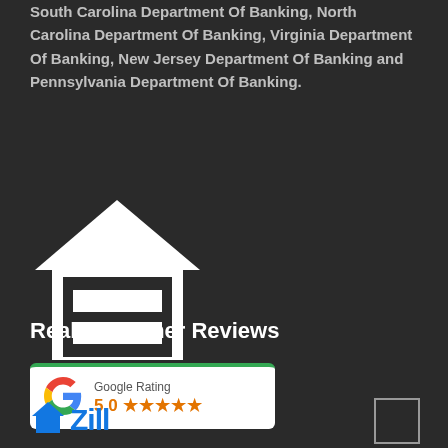South Carolina Department Of Banking, North Carolina Department Of Banking, Virginia Department Of Banking, New Jersey Department Of Banking and Pennsylvania Department Of Banking.
[Figure (logo): Equal Housing Opportunity logo — white house outline with equal sign inside, on dark background, with text 'EQUAL HOUSING OPPORTUNITY' below]
Real Customer Reviews
[Figure (logo): Google Rating card showing Google logo, 'Google Rating' label, score 5.0 with five orange stars, white card with green top border]
[Figure (logo): Zillow logo partially visible at bottom of page]